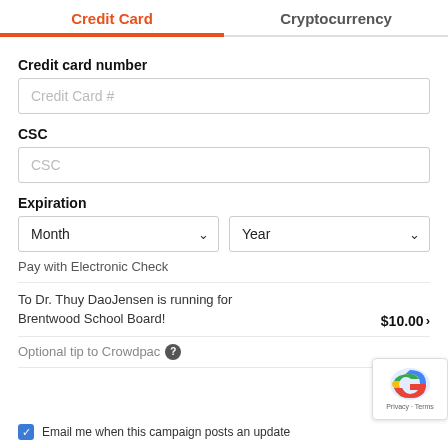Credit Card
Cryptocurrency
Credit card number
Credit Card #
CSC
CSC
Expiration
Month
Year
Pay with Electronic Check
To Dr. Thuy DaoJensen is running for Brentwood School Board!
$10.00 >
Optional tip to Crowdpac
Email me when this campaign posts an update